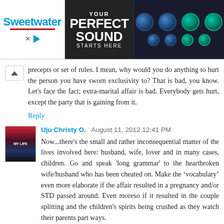[Figure (screenshot): Sweetwater audio equipment advertisement banner with 'YOUR PERFECT SOUND STARTS HERE' text, person with guitar, and audio mixing equipment knobs]
precepts or set of rules. I mean, why would you do anything to hurt the person you have sworn exclusivity to? That is bad, you know. Let's face the fact; extra-marital affair is bad. Everybody gets hurt, except the party that is gaining from it.
Reply
Uju Christy O.  August 11, 2012 12:41 PM
Now...there's the small and rather inconsequential matter of the lives involved here: husband, wife, lover and in many cases, children. Go and speak 'long grammar' to the heartbroken wife/husband who has been cheated on. Make the ‘vocabulary’ even more elaborate if the affair resulted in a pregnancy and/or STD passed around. Even moreso if it resulted in the couple splitting and the children's spirits being crushed as they watch their parents part ways.